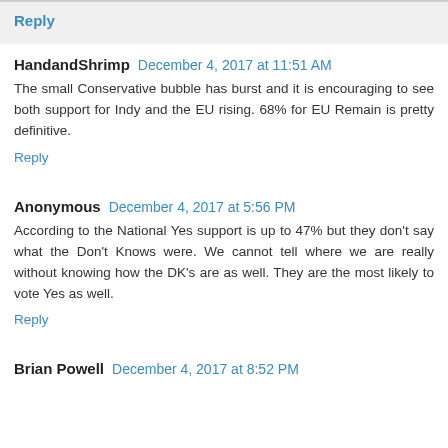Reply
HandandShrimp  December 4, 2017 at 11:51 AM
The small Conservative bubble has burst and it is encouraging to see both support for Indy and the EU rising. 68% for EU Remain is pretty definitive.
Reply
Anonymous  December 4, 2017 at 5:56 PM
According to the National Yes support is up to 47% but they don't say what the Don't Knows were. We cannot tell where we are really without knowing how the DK's are as well. They are the most likely to vote Yes as well.
Reply
Brian Powell  December 4, 2017 at 8:52 PM